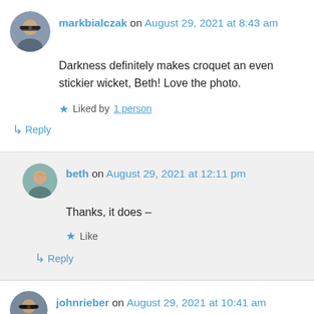[Figure (photo): Profile photo of markbialczak, a man with sunglasses]
markbialczak on August 29, 2021 at 8:43 am
Darkness definitely makes croquet an even stickier wicket, Beth! Love the photo.
★ Liked by 1 person
↳ Reply
[Figure (photo): Profile photo of beth, a woman in teal]
beth on August 29, 2021 at 12:11 pm
Thanks, it does –
★ Like
↳ Reply
[Figure (photo): Profile photo of johnrieber, a man with sunglasses]
johnrieber on August 29, 2021 at 10:41 am